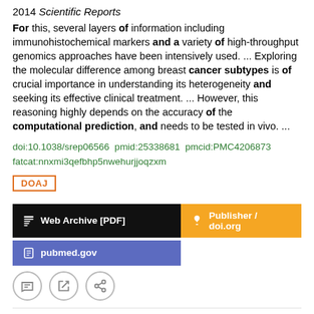2014 Scientific Reports
For this, several layers of information including immunohistochemical markers and a variety of high-throughput genomics approaches have been intensively used. ... Exploring the molecular difference among breast cancer subtypes is of crucial importance in understanding its heterogeneity and seeking its effective clinical treatment. ... However, this reasoning highly depends on the accuracy of the computational prediction, and needs to be tested in vivo. ...
doi:10.1038/srep06566  pmid:25338681  pmcid:PMC4206873  fatcat:nnxmi3qefbhp5nwehurjjoqzxm
DOAJ
Web Archive [PDF]
Publisher / doi.org
pubmed.gov
Mechanistic Modeling of Gene Regulation and Metabolism Identifies Potential Targets for